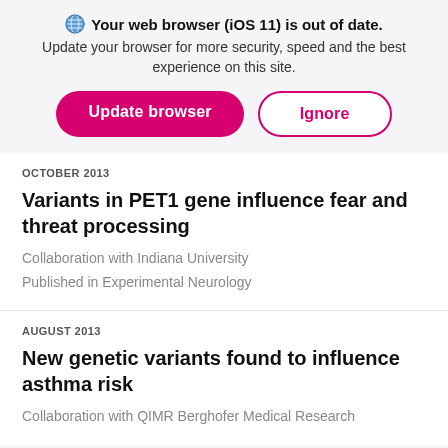[Figure (screenshot): Browser update alert banner with globe/shield icon, bold text 'Your web browser (iOS 11) is out of date.', subtitle text, and two buttons: 'Update browser' (pink filled) and 'Ignore' (pink outlined)]
OCTOBER 2013
Variants in PET1 gene influence fear and threat processing
Collaboration with Indiana University
Published in Experimental Neurology
AUGUST 2013
New genetic variants found to influence asthma risk
Collaboration with QIMR Berghofer Medical Research